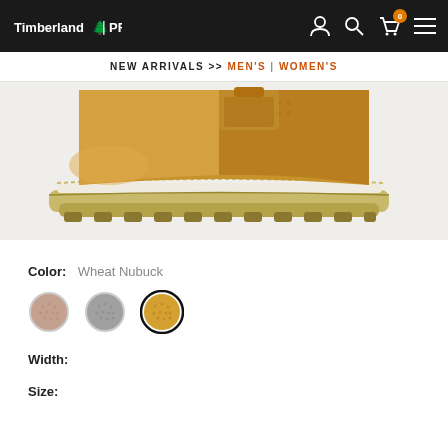Timberland PRO | NEW ARRIVALS >> MEN'S | WOMEN'S
[Figure (photo): Close-up of a Timberland PRO work boot in wheat nubuck leather, showing the sole and lower portion of the boot on a light grey background]
Color: Wheat Nubuck
[Figure (other): Three color swatches: brown/rose nubuck, grey, and wheat nubuck (selected, with dark border)]
Width:
Size: